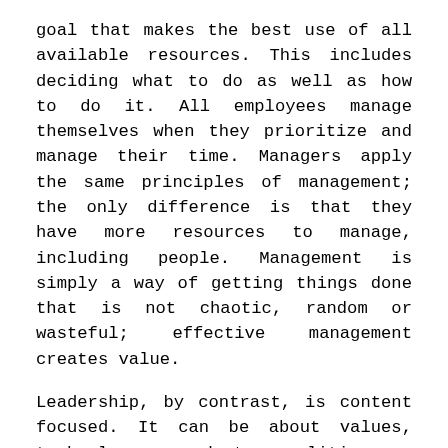goal that makes the best use of all available resources. This includes deciding what to do as well as how to do it. All employees manage themselves when they prioritize and manage their time. Managers apply the same principles of management; the only difference is that they have more resources to manage, including people. Management is simply a way of getting things done that is not chaotic, random or wasteful; effective management creates value.
Leadership, by contrast, is content focused. It can be about values, technology, products, politics or processes. Its essence is a better idea on some specific subject; it works by influencing others to accept that idea. Changing minds is the minimally sufficient way to show leadership, which means that it doesn't necessarily get anything done. For instance, leadership can STOP people from taking certain actions or to discontinue an unproductive policy. There is nothing to implement in either case, no